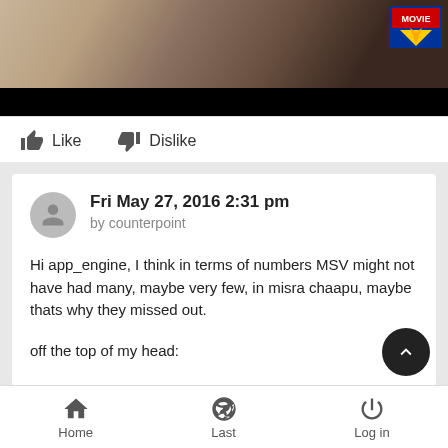[Figure (screenshot): Video thumbnail showing people, with a Movie channel logo in top-right corner and a black letterbox bar at the bottom]
Like   Dislike
Fri May 27, 2016 2:31 pm
by counterpoint

Hi app_engine, I think in terms of numbers MSV might not have had many, maybe very few, in misra chaapu, maybe thats why they missed out.

off the top of my head:
Home   Last   Log in